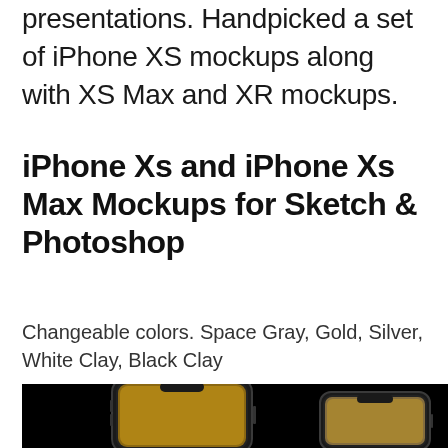presentations. Handpicked a set of iPhone XS mockups along with XS Max and XR mockups.
iPhone Xs and iPhone Xs Max Mockups for Sketch & Photoshop
Changeable colors. Space Gray, Gold, Silver, White Clay, Black Clay
[Figure (photo): Black background with two iPhone XS/XS Max mockups shown in gold/silver color, one larger phone on the left and one smaller phone on the right]